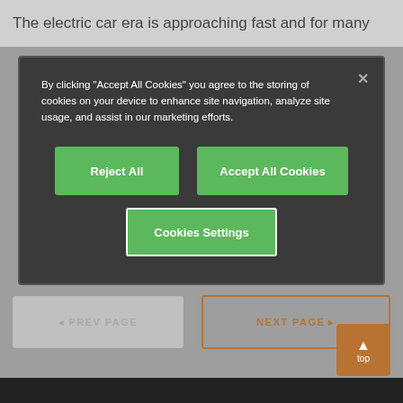The electric car era is approaching fast and for many
By clicking "Accept All Cookies" you agree to the storing of cookies on your device to enhance site navigation, analyze site usage, and assist in our marketing efforts.
[Figure (screenshot): Cookie consent modal with dark background containing text about cookie policy and three green buttons: Reject All, Accept All Cookies, and Cookies Settings]
< PREV PAGE
NEXT PAGE >